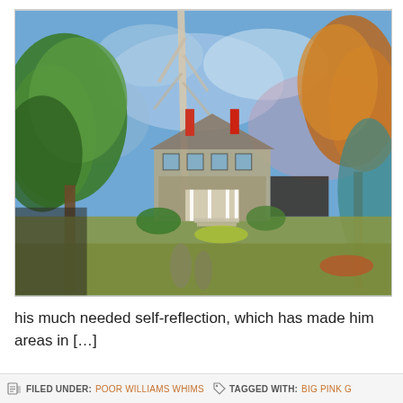[Figure (illustration): Watercolor painting of a two-story house surrounded by large trees with a blue sky background. The house has a front porch with white columns and red decorative elements. Trees appear in autumn foliage on the right and green on the left. The foreground shows a lawn with faint shadowy figures.]
his much needed self-reflection, which has made him areas in […]
FILED UNDER: POOR WILLIAMS WHIMS   TAGGED WITH: BIG PINK G